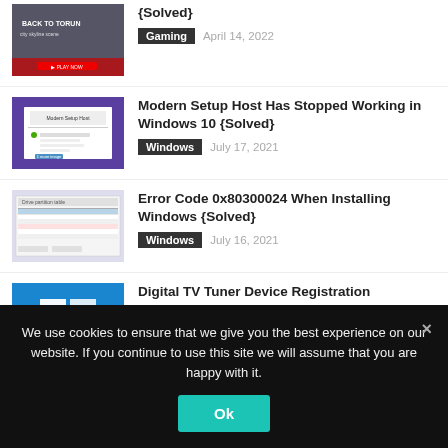{Solved} Gaming April 14, 2022
Modern Setup Host Has Stopped Working in Windows 10 {Solved} Windows July 17, 2021
Error Code 0x80300024 When Installing Windows {Solved} Windows July 16, 2021
Digital TV Tuner Device Registration Application Error Windows July 14, 2021
We use cookies to ensure that we give you the best experience on our website. If you continue to use this site we will assume that you are happy with it.